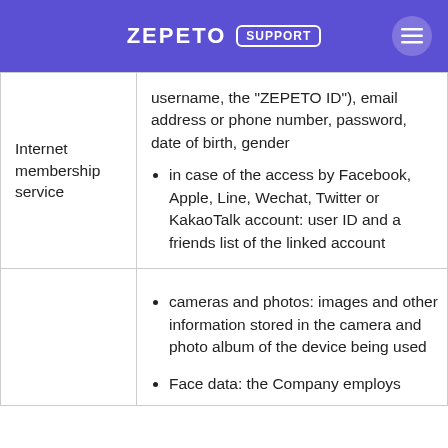ZEPETO SUPPORT
| Service type | Information collected |
| --- | --- |
| Internet membership service | username, the "ZEPETO ID"), email address or phone number, password, date of birth, gender
• in case of the access by Facebook, Apple, Line, Wechat, Twitter or KakaoTalk account: user ID and a friends list of the linked account |
|  | • cameras and photos: images and other information stored in the camera and photo album of the device being used
• Face data: the Company employs |